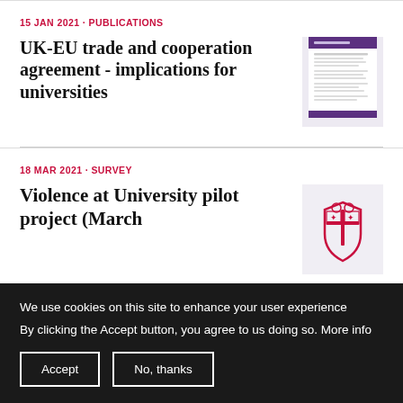15 JAN 2021 · PUBLICATIONS
UK-EU trade and cooperation agreement - implications for universities
[Figure (illustration): Thumbnail of a document with purple header bar and text lines, representing a publication]
18 MAR 2021 · SURVEY
Violence at University pilot project (March
[Figure (logo): Red university coat of arms / crest logo]
We use cookies on this site to enhance your user experience
By clicking the Accept button, you agree to us doing so. More info
Accept
No, thanks